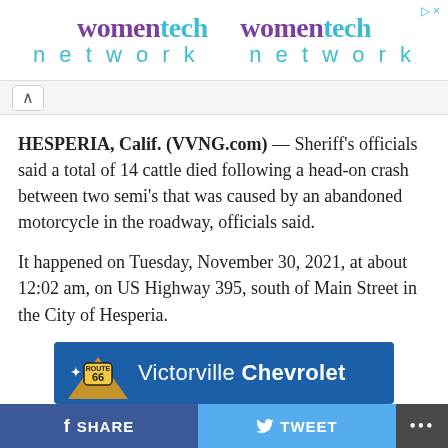[Figure (logo): WomenTech Network advertisement banner showing 'womentech network' logo twice in purple and teal, with a close (X) button]
HESPERIA, Calif. (VVNG.com) — Sheriff's officials said a total of 14 cattle died following a head-on crash between two semi's that was caused by an abandoned motorcycle in the roadway, officials said.
It happened on Tuesday, November 30, 2021, at about 12:02 am, on US Highway 395, south of Main Street in the City of Hesperia.
[Figure (logo): Victorville Chevrolet advertisement banner with blue background, Route 66 logo, and text 'Victorville Chevrolet']
[Figure (screenshot): Social sharing bar with Facebook SHARE button (dark blue), Twitter TWEET button (light blue), and a more options (•••) button (dark gray)]